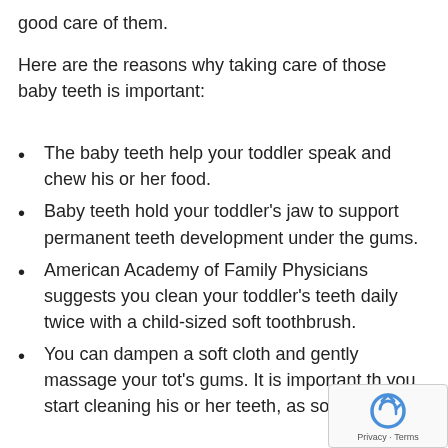good care of them.
Here are the reasons why taking care of those baby teeth is important:
The baby teeth help your toddler speak and chew his or her food.
Baby teeth hold your toddler’s jaw to support permanent teeth development under the gums.
American Academy of Family Physicians suggests you clean your toddler’s teeth daily twice with a child-sized soft toothbrush.
You can dampen a soft cloth and gently massage your tot’s gums. It is important th you start cleaning his or her teeth, as soon.